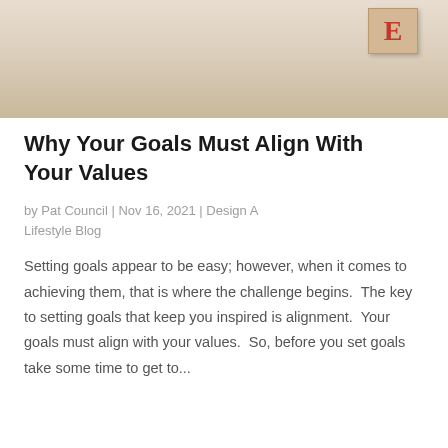[Figure (photo): Wooden letter blocks on a light wood surface; a block with red letter E is visible in the upper right corner]
Why Your Goals Must Align With Your Values
by Pat Council | Nov 16, 2021 | Design A Lifestyle Blog
Setting goals appear to be easy; however, when it comes to achieving them, that is where the challenge begins.  The key to setting goals that keep you inspired is alignment.  Your goals must align with your values.  So, before you set goals take some time to get to...